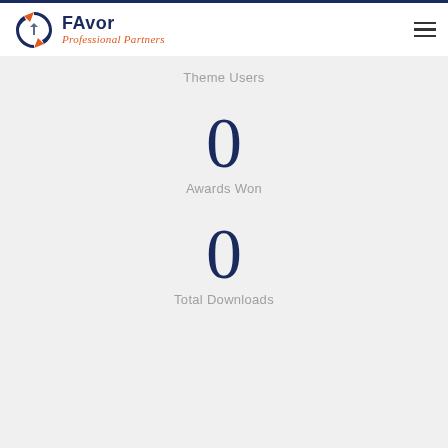[Figure (logo): FAvor Professional Partners logo with circular arrow icon in blue and orange]
Theme Users
0
Awards Won
0
Total Downloads